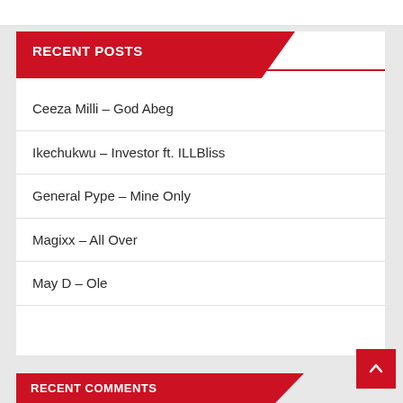RECENT POSTS
Ceeza Milli – God Abeg
Ikechukwu – Investor ft. ILLBliss
General Pype – Mine Only
Magixx – All Over
May D – Ole
RECENT COMMENTS